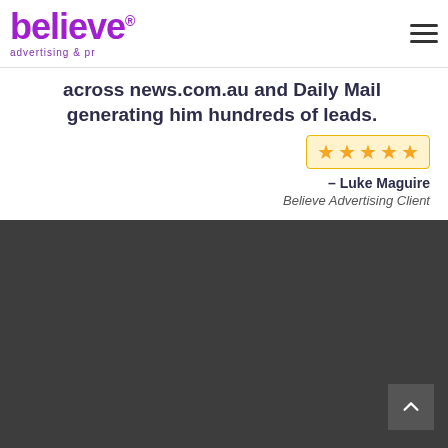[Figure (logo): Believe advertising & pr logo in purple, with tagline 'advertising & pr']
across news.com.au and Daily Mail generating him hundreds of leads.
[Figure (other): Five gold stars rating in a highlighted box]
– Luke Maguire
Believe Advertising Client